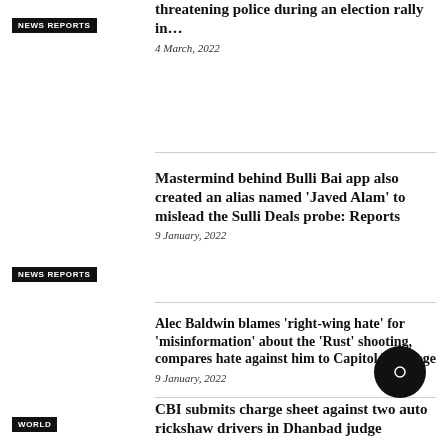NEWS REPORTS
threatening police during an election rally in…
4 March, 2022
NEWS REPORTS
Mastermind behind Bulli Bai app also created an alias named 'Javed Alam' to mislead the Sulli Deals probe: Reports
9 January, 2022
WORLD
Alec Baldwin blames 'right-wing hate' for 'misinformation' about the 'Rust' shooting, compares hate against him to Capitol Hill siege
9 January, 2022
CBI submits charge sheet against two auto rickshaw drivers in Dhanbad judge